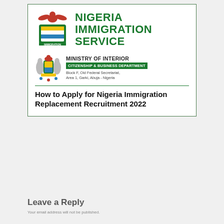[Figure (logo): Nigeria Immigration Service logo with eagle emblem and green text reading NIGERIA IMMIGRATION SERVICE]
[Figure (logo): Ministry of Interior coat of arms emblem with text: MINISTRY OF INTERIOR, green bar CITIZENSHIP & BUSINESS DEPARTMENT, address: Block F, Old Federal Secretariat, Area 1, Garki, Abuja - Nigeria]
How to Apply for Nigeria Immigration Replacement Recruitment 2022
Leave a Reply
Your email address will not be published.